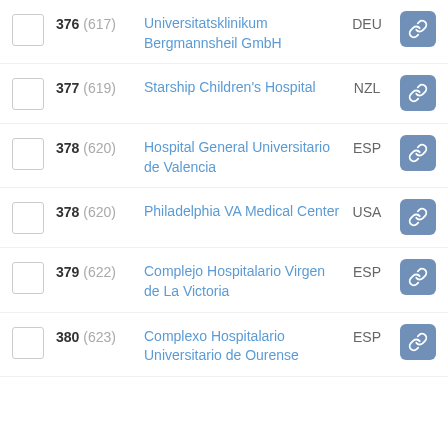376 (617) Universitatsklinikum Bergmannsheil GmbH — DEU
377 (619) Starship Children's Hospital — NZL
378 (620) Hospital General Universitario de Valencia — ESP
378 (620) Philadelphia VA Medical Center — USA
379 (622) Complejo Hospitalario Virgen de La Victoria — ESP
380 (623) Complexo Hospitalario Universitario de Ourense — ESP